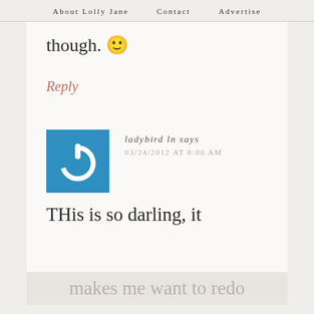About Lolly Jane   Contact   Advertise
though. 🙂
Reply
[Figure (illustration): Blue square avatar icon with a white power button symbol]
ladybird ln says
03/24/2012 AT 8:00 AM
THis is so darling, it
makes me want to redo